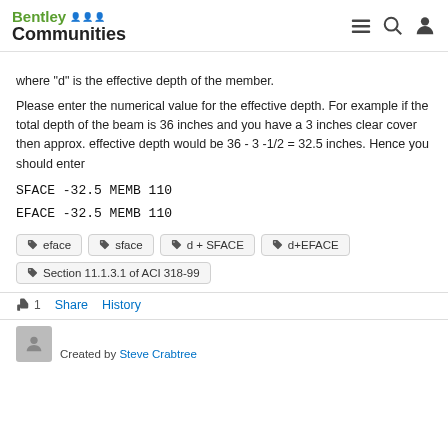Bentley Communities
where "d" is the effective depth of the member.
Please enter the numerical value for the effective depth. For example if the total depth of the beam is 36 inches and you have a 3 inches clear cover then approx. effective depth would be 36 - 3 -1/2 = 32.5 inches. Hence you should enter
SFACE -32.5 MEMB 110
EFACE -32.5 MEMB 110
eface  sface  d + SFACE  d+EFACE  Section 11.1.3.1 of ACI 318-99
1  Share  History
Created by Steve Crabtree